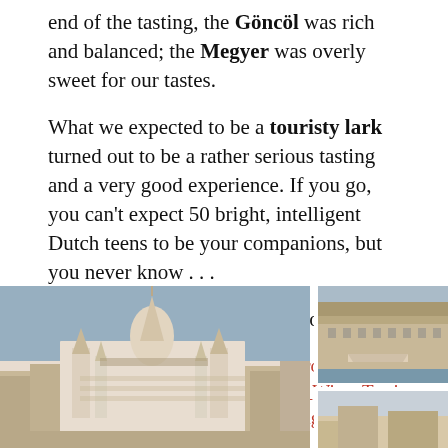end of the tasting, the Göncöl was rich and balanced; the Megyer was overly sweet for our tastes.
What we expected to be a touristy lark turned out to be a rather serious tasting and a very good experience. If you go, you can't expect 50 bright, intelligent Dutch teens to be your companions, but you never know . . .
Here is the link to the tour we took: www.tripadvisor.com/AttractionProductReview-g274887-d11452787-Budapest_Wine_Tasting_Cruise-Budapest_Central_Hungary.html
[Figure (photo): Panoramic daytime photo of Budapest showing the Hungarian Parliament Building and city skyline]
[Figure (photo): Photo of Budapest riverside building seen from the water, partially cropped on the right side]
[Figure (photo): Partial photo at bottom right, partially visible, appears to show another Budapest scene]